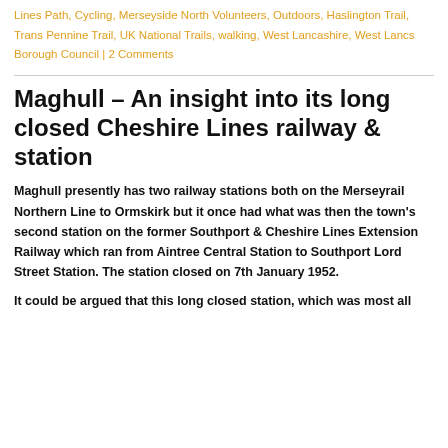Lines Path, Cycling, Merseyside North Volunteers, Outdoors, Haslington Trail, Trans Pennine Trail, UK National Trails, walking, West Lancashire, West Lancs Borough Council | 2 Comments
Maghull – An insight into its long closed Cheshire Lines railway & station
Maghull presently has two railway stations both on the Merseyrail Northern Line to Ormskirk but it once had what was then the town's second station on the former Southport & Cheshire Lines Extension Railway which ran from Aintree Central Station to Southport Lord Street Station. The station closed on 7th January 1952.
It could be argued that this long closed station, which was most all...